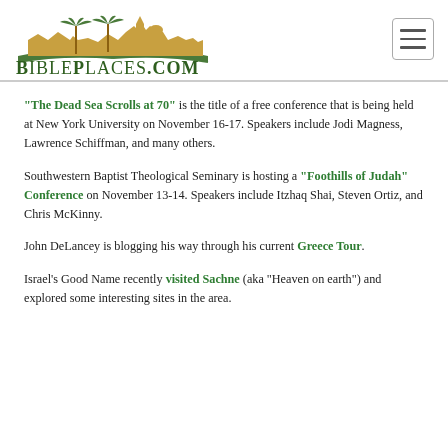BiblePlaces.com
“The Dead Sea Scrolls at 70” is the title of a free conference that is being held at New York University on November 16-17. Speakers include Jodi Magness, Lawrence Schiffman, and many others.
Southwestern Baptist Theological Seminary is hosting a “Foothills of Judah” Conference on November 13-14. Speakers include Itzhaq Shai, Steven Ortiz, and Chris McKinny.
John DeLancey is blogging his way through his current Greece Tour.
Israel’s Good Name recently visited Sachne (aka “Heaven on earth”) and explored some interesting sites in the area.